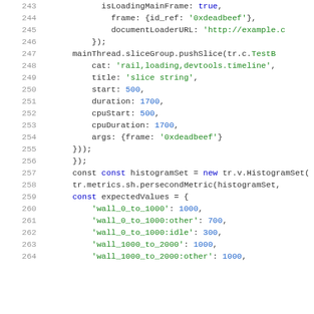Code snippet lines 243-264, JavaScript test code showing trace model setup with mainThread.sliceGroup.pushSlice and histogramSet configuration